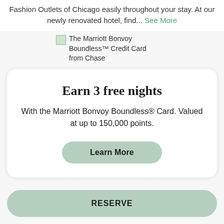Fashion Outlets of Chicago easily throughout your stay. At our newly renovated hotel, find... See More
[Figure (logo): The Marriott Bonvoy Boundless™ Credit Card from Chase logo/image placeholder]
Earn 3 free nights
With the Marriott Bonvoy Boundless® Card. Valued at up to 150,000 points.
Learn More
RESERVE